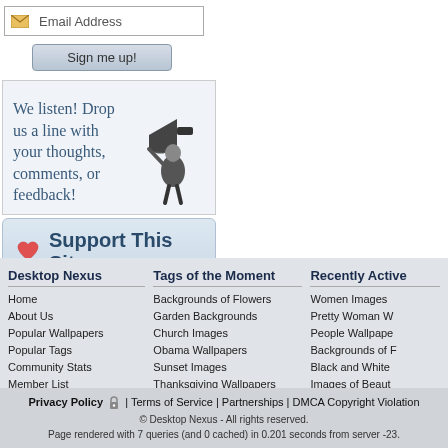[Figure (screenshot): Email address input box with envelope icon]
[Figure (screenshot): Sign me up! button]
We listen! Drop us a line with your thoughts, comments, or feedback!
[Figure (illustration): Black and white illustration of a person speaking into a megaphone]
[Figure (screenshot): Support This Site button with heart icon]
Desktop Nexus
Home
About Us
Popular Wallpapers
Popular Tags
Community Stats
Member List
Contact Us
Tags of the Moment
Backgrounds of Flowers
Garden Backgrounds
Church Images
Obama Wallpapers
Sunset Images
Thanksgiving Wallpapers
Christmas Wallpapers
Recently Active
Women Images
Pretty Woman W
People Wallpape
Backgrounds of F
Black and White
Images of Beaut
Summer Pictures
Privacy Policy 🔒 | Terms of Service | Partnerships | DMCA Copyright Violation
© Desktop Nexus - All rights reserved.
Page rendered with 7 queries (and 0 cached) in 0.201 seconds from server -23.